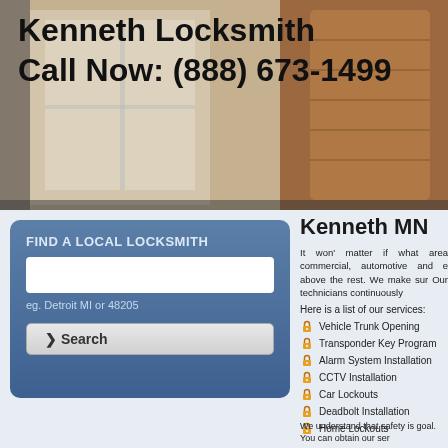[Figure (photo): Hero banner background image showing a window and wicker basket with warm tones]
Kenneth Locksmith
Call Now: (888) 673-1499
FIND A LOCAL LOCKSMITH
eg. Detroit MI or 48205
Kenneth MN
It won' matter if what area commercial, automotive and e above the rest. We make sur Our technicians continuously
Here is a list of our services:
Vehicle Trunk Opening
Transponder Key Program
Alarm System Installation
CCTV Installation
Car Lockouts
Deadbolt Installation
Home Lockouts
We understand that safety is goal. You can obtain our ser